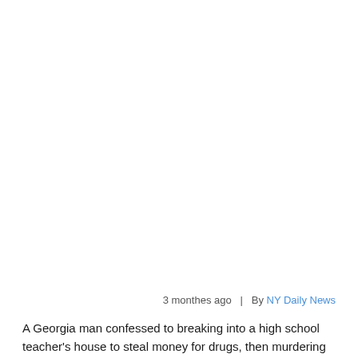3 monthes ago   |   By NY Daily News
A Georgia man confessed to breaking into a high school teacher's house to steal money for drugs, then murdering her. He told police